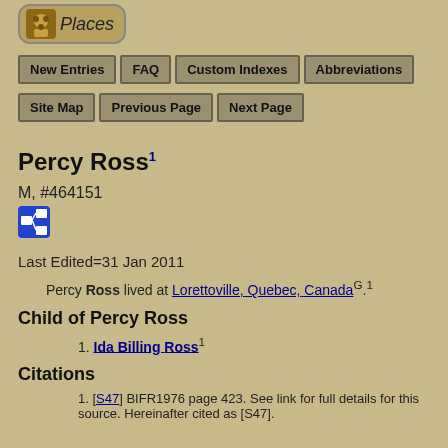[Figure (logo): Places logo with icon and italic text in rounded box]
New Entries | FAQ | Custom Indexes | Abbreviations | Site Map | Previous Page | Next Page
Percy Ross1
M, #464151
[Figure (other): Blue family tree icon]
Last Edited=31 Jan 2011
Percy Ross lived at Lorettoville, Quebec, CanadaG.1
Child of Percy Ross
1. Ida Billing Ross1
Citations
1. [S47] BIFR1976 page 423. See link for full details for this source. Hereinafter cited as [S47].